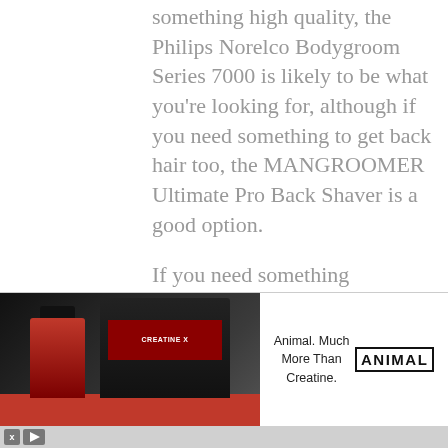something high quality, the Philips Norelco Bodygroom Series 7000 is likely to be what you're looking for, although if you need something to get back hair too, the MANGROOMER Ultimate Pro Back Shaver is a good option.
If you need something affordable, any of the first 3 products we reviewed are great.
Related Article: African American Beard Styles, make your beard
[Figure (photo): Advertisement showing red and black supplement containers (Creatine X) on a red surface with dark background, alongside text 'Animal. Much More Than Creatine.' and ANIMAL logo]